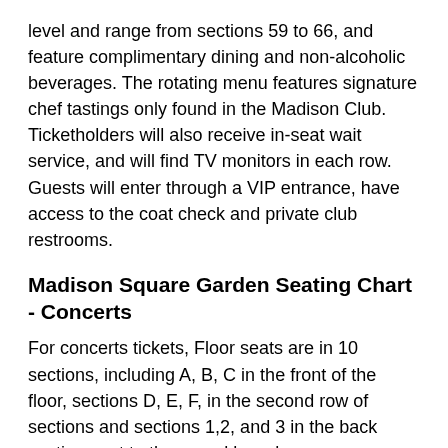level and range from sections 59 to 66, and feature complimentary dining and non-alcoholic beverages. The rotating menu features signature chef tastings only found in the Madison Club. Ticketholders will also receive in-seat wait service, and will find TV monitors in each row. Guests will enter through a VIP entrance, have access to the coat check and private club restrooms.
Madison Square Garden Seating Chart - Concerts
For concerts tickets, Floor seats are in 10 sections, including A, B, C in the front of the floor, sections D, E, F, in the second row of sections and sections 1,2, and 3 in the back section next to the sound board.
100-level sections run from 101 to 119, with goaline sections ranging from 101-103 and 111-113. Corner sections are 110, 114, 120 and 104. Side sections range from 105-109 and 115-119. Behind the stage section include 110, 111, 112, 113, and 114. The best 100-level concert section is 109 and 115.
200-level center tickets include 213, 212, 211, 210, 209, 222, 223, 224, 225 and 226, while corner tickets include 227, 221, 214, 215 and 208. 200-level stage-facing rows